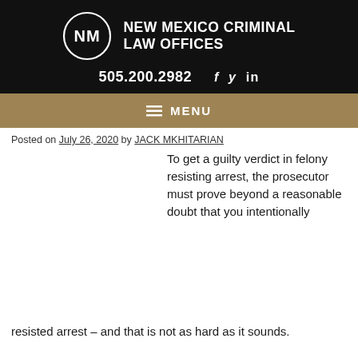[Figure (logo): New Mexico Criminal Law Offices logo with circular NM monogram and firm name in white text on black background]
505.200.2982  f  y  in
≡ MENU
Posted on July 26, 2020 by JACK MKHITARIAN
To get a guilty verdict in felony resisting arrest, the prosecutor must prove beyond a reasonable doubt that you intentionally resisted arrest – and that is not as hard as it sounds.